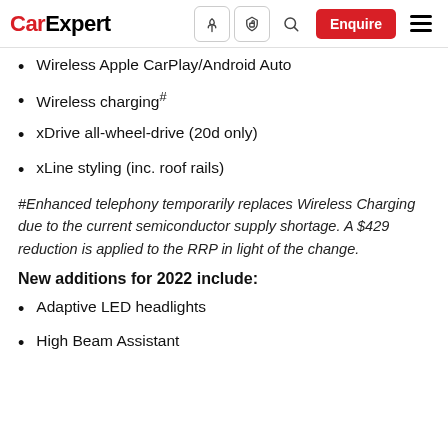CarExpert — navigation header
Wireless Apple CarPlay/Android Auto
Wireless charging#
xDrive all-wheel-drive (20d only)
xLine styling (inc. roof rails)
#Enhanced telephony temporarily replaces Wireless Charging due to the current semiconductor supply shortage. A $429 reduction is applied to the RRP in light of the change.
New additions for 2022 include:
Adaptive LED headlights
High Beam Assistant